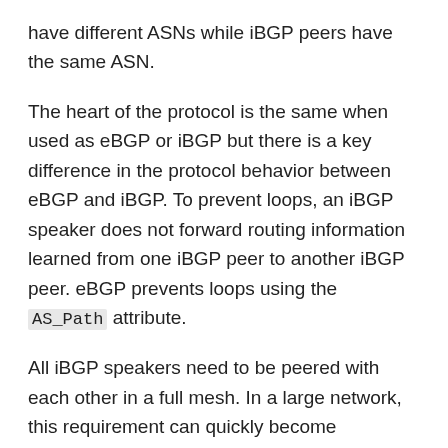have different ASNs while iBGP peers have the same ASN.
The heart of the protocol is the same when used as eBGP or iBGP but there is a key difference in the protocol behavior between eBGP and iBGP. To prevent loops, an iBGP speaker does not forward routing information learned from one iBGP peer to another iBGP peer. eBGP prevents loops using the AS_Path attribute.
All iBGP speakers need to be peered with each other in a full mesh. In a large network, this requirement can quickly become unscalable. The most popular method to scale iBGP